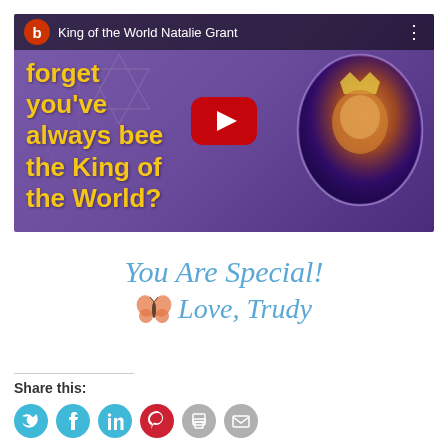[Figure (screenshot): YouTube video thumbnail for 'King of the World Natalie Grant' showing yellow bold text 'How dare you forget you've always been the King of the World?' on a purple background with a circular fantasy lion/king illustration on the right and a YouTube play button in the center]
[Figure (illustration): Cursive script signature reading 'You Are Special! Love, Trudy' in blue color with an orange butterfly illustration]
Share this:
[Figure (illustration): Row of social share icon circles: Twitter (teal), Facebook (teal), LinkedIn (teal), Pinterest (red), Print (gray), Email (gray)]